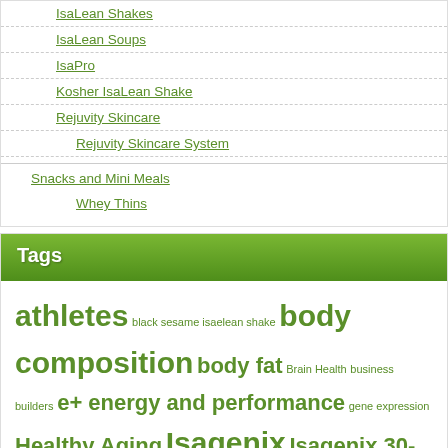IsaLean Shakes
IsaLean Soups
IsaPro
Kosher IsaLean Shake
Rejuvity Skincare
Rejuvity Skincare System
Snacks and Mini Meals
Whey Thins
Tags
athletes black sesame isaelean shake body composition body fat Brain Health business builders e+ energy and performance gene expression Healthy Aging Isagenix Isagenix 30-Day Cleansing and Fat Burning System Isagenix Associate Benefits Isagenix